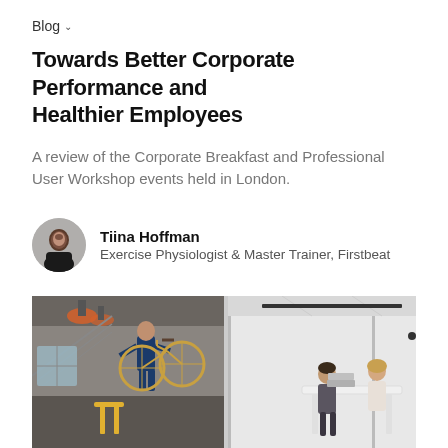Blog
Towards Better Corporate Performance and Healthier Employees
A review of the Corporate Breakfast and Professional User Workshop events held in London.
Tiina Hoffman
Exercise Physiologist & Master Trainer, Firstbeat
[Figure (photo): Split image: left side shows a man in blue overalls carrying a bicycle in an industrial/cafe-style interior with concrete walls and pendant lights; right side shows two women working at a white standing desk in a bright glass-walled office space.]